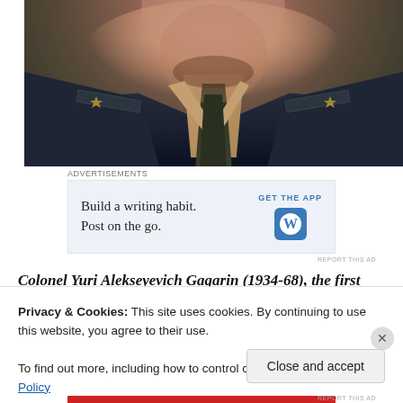[Figure (photo): Close-up photo of a person in military uniform, showing chin, neck, collar, dark tie and epaulettes — likely Yuri Gagarin in Soviet Air Force uniform]
Advertisements
[Figure (screenshot): WordPress advertisement: Build a writing habit. Post on the go. GET THE APP with WordPress logo icon]
REPORT THIS AD
Colonel Yuri Alekseyevich Gagarin (1934-68), the first
Privacy & Cookies: This site uses cookies. By continuing to use this website, you agree to their use.
To find out more, including how to control cookies, see here: Cookie Policy
Close and accept